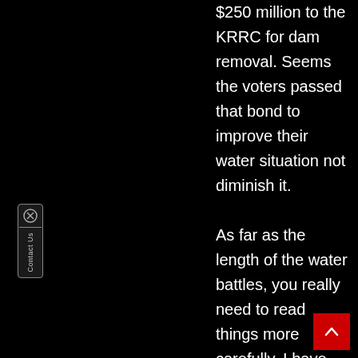$250 million to the KRRC for dam removal. Seems the voters passed that bond to improve their water situation not diminish it. As far as the length of the water battles, you really need to read things more carefully. I have gone over all the
[Figure (other): Contact Us widget on the left side: a small box with an X-circle icon on top and vertical text reading 'Contact Us' below, styled with a dark background and gray border.]
[Figure (other): Red scroll-to-top button in the bottom right corner with a white upward-pointing chevron arrow.]